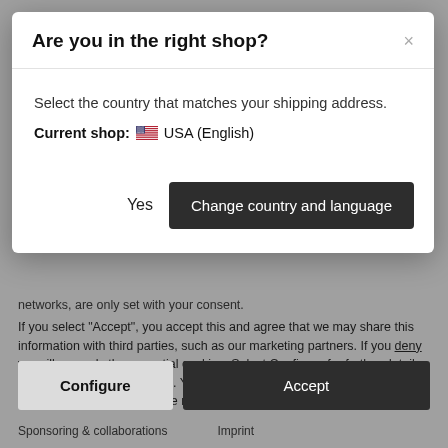Are you in the right shop?
Select the country that matches your shipping address. Current shop: USA (English)
networks, are only set with your consent.
If you select "Accept", you accept this and agree that we may share this information with third parties, such as our marketing partners. If you deny we will use only the essential cookies. Select Configure for further details and to manage your options. You can adjust your preferences at any time. For more information, please read our privacy notice.
Sponsoring & collaborations
Imprint